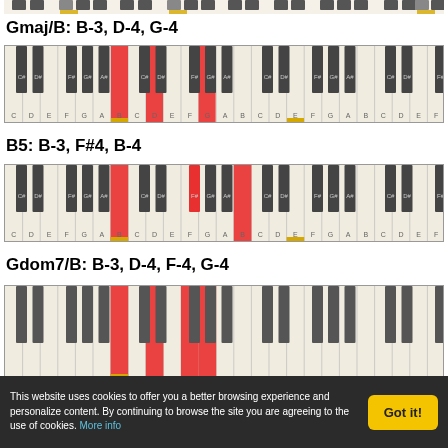[Figure (illustration): Top partial piano keyboard strip showing highlighted keys, cut off at top]
Gmaj/B: B-3, D-4, G-4
[Figure (illustration): Piano keyboard showing Gmaj/B chord with B, D, G keys highlighted in red and yellow]
B5: B-3, F#4, B-4
[Figure (illustration): Piano keyboard showing B5 chord with B, F#, B keys highlighted in red and yellow]
Gdom7/B: B-3, D-4, F-4, G-4
[Figure (illustration): Piano keyboard showing Gdom7/B chord, partially visible]
This website uses cookies to offer you a better browsing experience and personalize content. By continuing to browse the site you are agreeing to the use of cookies. More info
Got it!